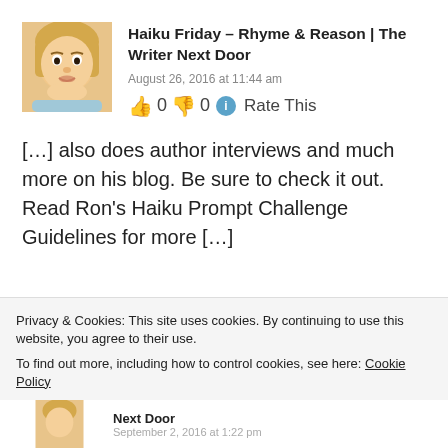Haiku Friday – Rhyme & Reason | The Writer Next Door
August 26, 2016 at 11:44 am
👍 0 👎 0 ℹ Rate This
[…] also does author interviews and much more on his blog. Be sure to check it out. Read Ron's Haiku Prompt Challenge Guidelines for more […]
Privacy & Cookies: This site uses cookies. By continuing to use this website, you agree to their use.
To find out more, including how to control cookies, see here: Cookie Policy
Close and accept
Next Door
September 2, 2016 at 1:22 pm